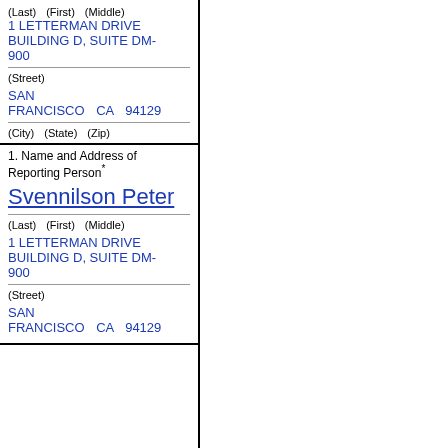(Last)  (First)  (Middle)
1 LETTERMAN DRIVE
BUILDING D, SUITE DM-900
(Street)
SAN FRANCISCO  CA  94129
(City)  (State)  (Zip)
1. Name and Address of Reporting Person*
Svennilson Peter
(Last)  (First)  (Middle)
1 LETTERMAN DRIVE
BUILDING D, SUITE DM-900
(Street)
SAN FRANCISCO  CA  94129